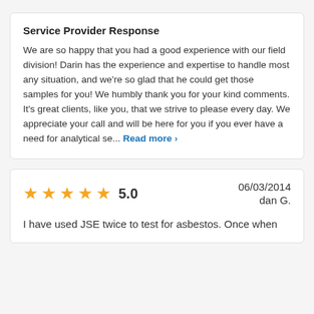Service Provider Response
We are so happy that you had a good experience with our field division! Darin has the experience and expertise to handle most any situation, and we’re so glad that he could get those samples for you! We humbly thank you for your kind comments. It’s great clients, like you, that we strive to please every day. We appreciate your call and will be here for you if you ever have a need for analytical se... Read more ›
5.0
06/03/2014
dan G.
I have used JSE twice to test for asbestos. Once when